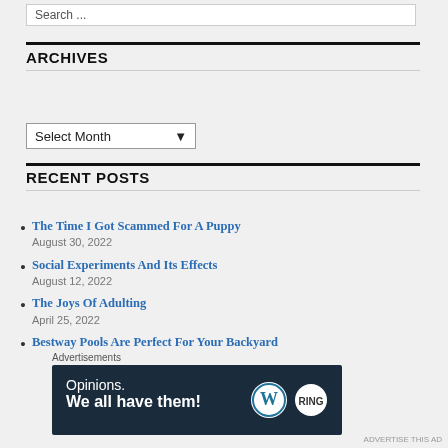Search ...
ARCHIVES
Select Month
RECENT POSTS
The Time I Got Scammed For A Puppy
August 30, 2022
Social Experiments And Its Effects
August 12, 2022
The Joys Of Adulting
April 25, 2022
Bestway Pools Are Perfect For Your Backyard
April 18, 2022
When The Birth Mother Dies
[Figure (screenshot): Advertisement banner: dark navy background with text 'Opinions. We all have them!' and WordPress and Ring logos on the right]
Advertisements